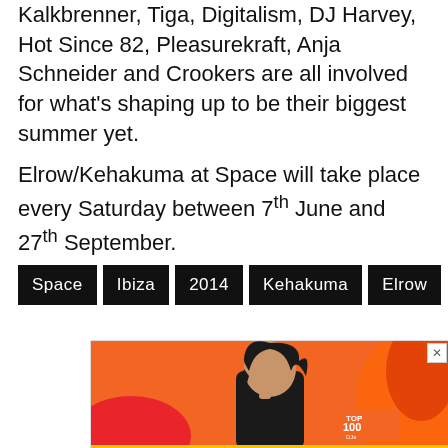Kalkbrenner, Tiga, Digitalism, DJ Harvey, Hot Since 82, Pleasurekraft, Anja Schneider and Crookers are all involved for what's shaping up to be their biggest summer yet.

Elrow/Kehakuma at Space will take place every Saturday between 7th June and 27th September.
Space
Ibiza
2014
Kehakuma
Elrow
[Figure (photo): Advertisement banner with orange background featuring a woman with dark hair and a Top 100 DJs logo]